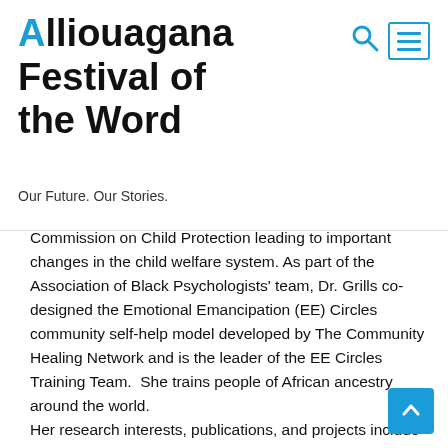Alliouagana Festival of the Word — Our Future. Our Stories.
Commission on Child Protection leading to important changes in the child welfare system. As part of the Association of Black Psychologists' team, Dr. Grills co-designed the Emotional Emancipation (EE) Circles community self-help model developed by The Community Healing Network and is the leader of the EE Circles Training Team.  She trains people of African ancestry around the world.
Her research interests, publications, and projects include African Psychology, mental health prevention and treatment with African-Americans, substance abuse, community psychology, community mental health, and applied research as well as program evaluation with community-based organizations